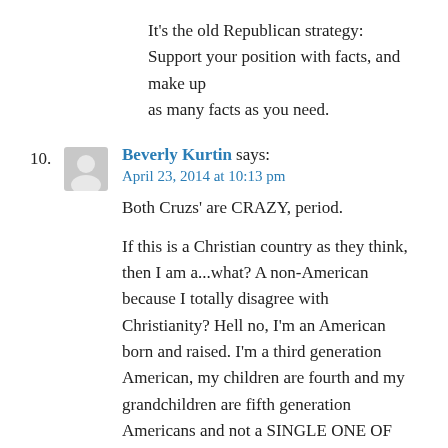It's the old Republican strategy: Support your position with facts, and make up as many facts as you need.
Beverly Kurtin says:
April 23, 2014 at 10:13 pm
Both Cruzs' are CRAZY, period.

If this is a Christian country as they think, then I am a...what? A non-American because I totally disagree with Christianity? Hell no, I'm an American born and raised. I'm a third generation American, my children are fourth and my grandchildren are fifth generation Americans and not a SINGLE ONE OF THEM BELIEVE IN CHRISTIANITY!